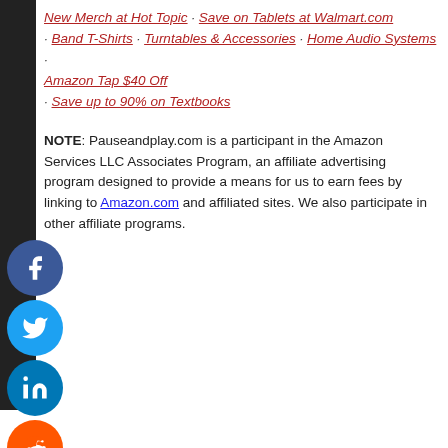New Merch at Hot Topic · Save on Tablets at Walmart.com
· Band T-Shirts · Turntables & Accessories · Home Audio Systems · Amazon Tap $40 Off
· Save up to 90% on Textbooks
NOTE: Pauseandplay.com is a participant in the Amazon Services LC Associates Program, an affiliate advertising program designed to provide a means for us to earn fees by linking to Amazon.com and affiliated sites. We also participate in other affiliate programs.
[Figure (infographic): Social media share buttons (Facebook, Twitter, LinkedIn, Reddit, Email) displayed as circular icons on the left side bar]